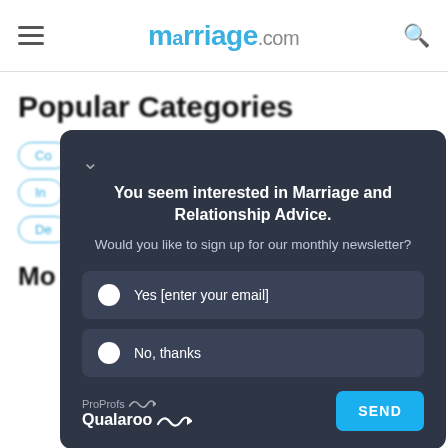marriage.com
Popular Categories
[Figure (screenshot): A popup/modal overlay on marriage.com asking 'You seem interested in Marriage and Relationship Advice. Would you like to sign up for our monthly newsletter?' with two radio options: 'Yes [enter your email]' and 'No, thanks', plus a ProProfs Qualaroo branding and a SEND button.]